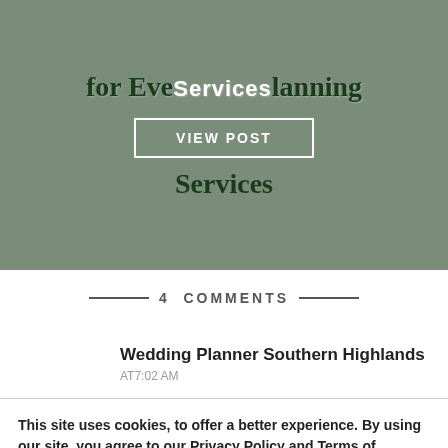[Figure (screenshot): Blog post thumbnail image with dark green overlaid text reading 'for Event Planning' and 'Services' with a 'VIEW POST' button overlay, on a muted olive-green background with dollar bill imagery]
4 COMMENTS
Wedding Planner Southern Highlands
AT7:02 AM
This site uses cookies, to offer a better experience. By using our site, you agree to our Privacy Policy and Terms of Service.
Accept